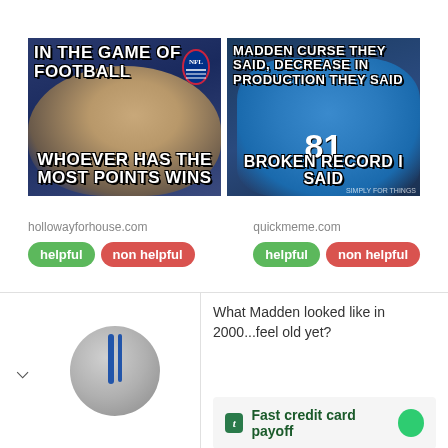[Figure (photo): Meme image 1: NFL meme with John Madden at NFL podium, text reads 'IN THE GAME OF FOOTBALL' on top and 'WHOEVER HAS THE MOST POINTS WINS' on bottom]
[Figure (photo): Meme image 2: Detroit Lions #81 Calvin Johnson meme with text 'MADDEN CURSE THEY SAID, DECREASE IN PRODUCTION THEY SAID' on top and 'BROKEN RECORD I SAID' on bottom]
hollowayforhouse.com
helpful   non helpful
quickmeme.com
helpful   non helpful
[Figure (photo): Partial image of a football player wearing a helmet with blue stripes]
What Madden looked like in 2000...feel old yet?
Fast credit card payoff